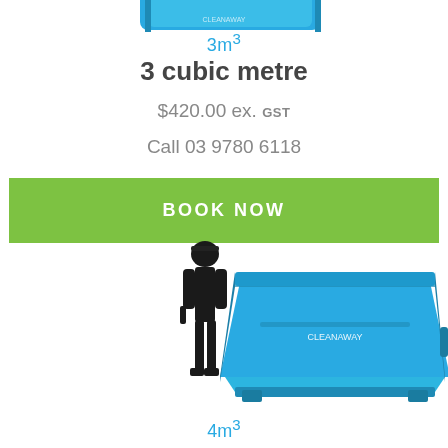[Figure (photo): Partial top view of a blue Cleanaway skip bin, cropped at top of page]
3m³
3 cubic metre
$420.00 ex. GST
Call 03 9780 6118
[Figure (illustration): Button with green background and white text reading BOOK NOW]
[Figure (photo): Illustration of a black silhouette of a construction worker standing next to a larger blue Cleanaway skip bin (4m³ size comparison)]
4m³